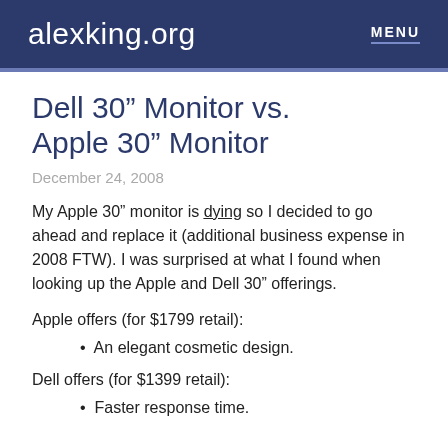alexking.org   MENU
Dell 30” Monitor vs. Apple 30” Monitor
December 24, 2008
My Apple 30” monitor is dying so I decided to go ahead and replace it (additional business expense in 2008 FTW). I was surprised at what I found when looking up the Apple and Dell 30” offerings.
Apple offers (for $1799 retail):
An elegant cosmetic design.
Dell offers (for $1399 retail):
Faster response time.